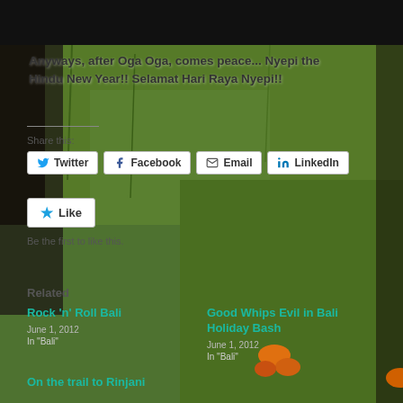[Figure (photo): Background photo of green grass with a dark animal (cat/dog) on the left side and orange flowers visible in the lower portion. Dark strip at top.]
Anyways, after Oga Oga, comes peace... Nyepi the Hindu New Year!! Selamat Hari Raya Nyepi!!
Share this:
Twitter
Facebook
Email
LinkedIn
Like
Be the first to like this.
Related
Rock 'n' Roll Bali
Good Whips Evil in Bali Holiday Bash
On the trail to Rinjani